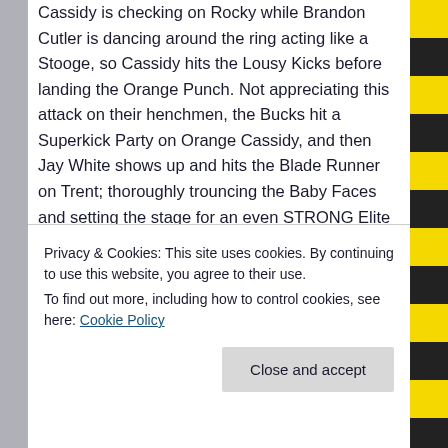Cassidy is checking on Rocky while Brandon Cutler is dancing around the ring acting like a Stooge, so Cassidy hits the Lousy Kicks before landing the Orange Punch. Not appreciating this attack on their henchmen, the Bucks hit a Superkick Party on Orange Cassidy, and then Jay White shows up and hits the Blade Runner on Trent; thoroughly trouncing the Baby Faces and setting the stage for an even STRONG Elite faction. As long as they keep adding new guys and new matchups, I suppose I can't complain too much about this feud getting long in the tooth. It'll be interesting to see how
Privacy & Cookies: This site uses cookies. By continuing to use this website, you agree to their use.
To find out more, including how to control cookies, see here: Cookie Policy